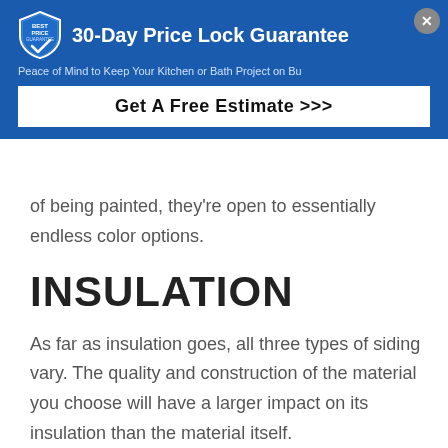[Figure (infographic): Blue promotional banner with shield logo, '30-Day Price Lock Guarantee' title, subtitle text 'Peace of Mind to Keep Your Kitchen or Bath Project on Budget', a 'Get A Free Estimate >>>' CTA button, and a close (X) button in the top right corner.]
of being painted, they're open to essentially endless color options.
INSULATION
As far as insulation goes, all three types of siding vary. The quality and construction of the material you choose will have a larger impact on its insulation than the material itself.
For instance, plain vinyl siding possesses poor insulative qualities. However, vinyl siding